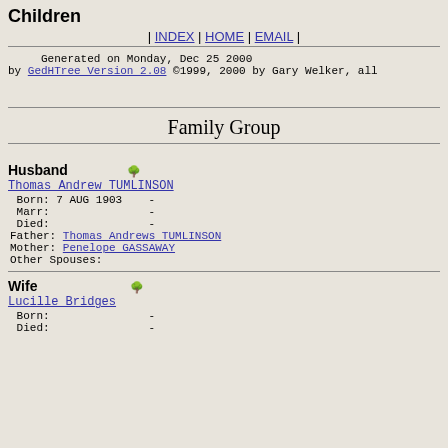Children
| INDEX | HOME | EMAIL |
Generated on Monday, Dec 25 2000
by GedHTree Version 2.08 ©1999, 2000 by Gary Welker, all
Family Group
Husband 🌳
Thomas Andrew TUMLINSON
Born: 7 AUG 1903    -
Marr:               -
Died:               -
Father: Thomas Andrews TUMLINSON
Mother: Penelope GASSAWAY
Other Spouses:
Wife 🌳
Lucille Bridges
Born:               -
Died:               -